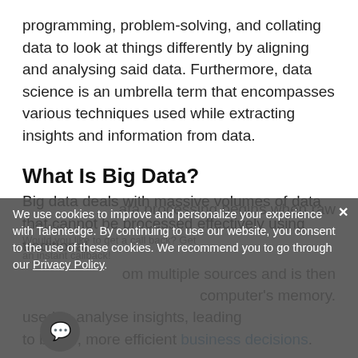programming, problem-solving, and collating data to look at things differently by aligning and analysing said data. Furthermore, data science is an umbrella term that encompasses various techniques used while extracting insights and information from data.
What Is Big Data?
Big data deals with massive volumes of data that cannot be processed effectively using traditional data processing begins when raw om multiple sources and is then computer's memory. used to analyse insights, leading to better, more efficient business decisions.
We use cookies to improve and personalize your experience with Talentedge. By continuing to use our website, you consent to the use of these cookies. We recommend you to go through our Privacy Policy.